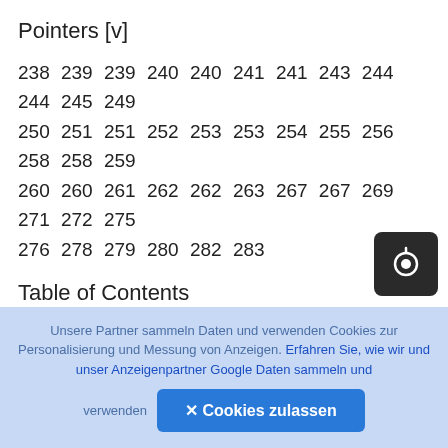Pointers [v]
238 239 239 240 240 241 241 243 244 244 245 249 250 251 251 252 253 253 254 255 256 258 258 259 260 260 261 262 262 263 267 267 269 271 272 275 276 278 279 280 282 283
Table of Contents
Technical requirements Understanding array names and pointers Understanding array elements and pointers Accessing array elements via pointers
Operations on arrays using pointers
Unsere Partner sammeln Daten und verwenden Cookies zur Personalisierung und Messung von Anzeigen. Erfahren Sie, wie wir und unser Anzeigenpartner Google Daten sammeln und verwenden
✕ Cookies zulassen